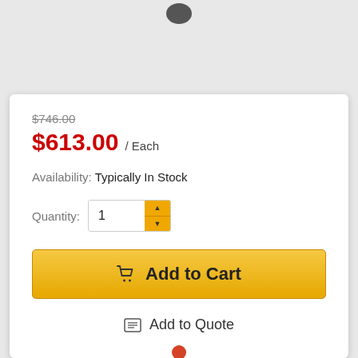[Figure (illustration): Small dark grey product icon at top center of page]
$746.00 (strikethrough original price)
$613.00 / Each
Availability: Typically In Stock
Quantity: 1
Add to Cart
Add to Quote